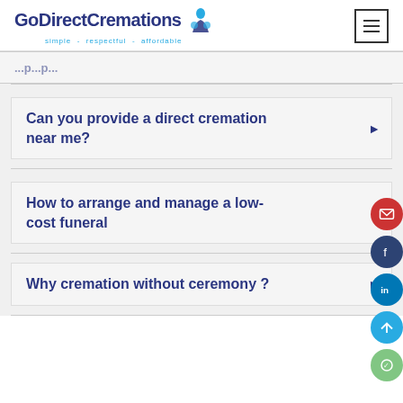GoDirectCremations - simple - respectful - affordable
...partial content...
Can you provide a direct cremation near me?
How to arrange and manage a low-cost funeral
Why cremation without ceremony ?